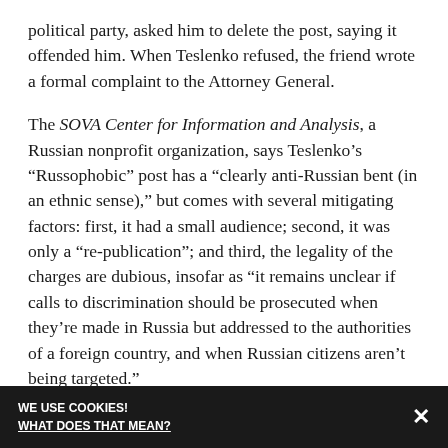political party, asked him to delete the post, saying it offended him. When Teslenko refused, the friend wrote a formal complaint to the Attorney General.
The SOVA Center for Information and Analysis, a Russian nonprofit organization, says Teslenko’s “Russophobic” post has a “clearly anti-Russian bent (in an ethnic sense),” but comes with several mitigating factors: first, it had a small audience; second, it was only a “re-publication”; and third, the legality of the charges are dubious, insofar as “it remains unclear if calls to discrimination should be prosecuted when they’re made in Russia but addressed to the authorities of a foreign country, and when Russian citizens aren’t being targeted.”
Before police ever issued an arrest warrant for Teslenko, he and his family flew to Kiev, where they managed to
WE USE COOKIES! WHAT DOES THAT MEAN? ×